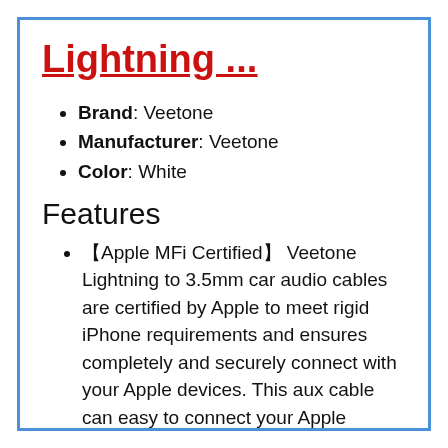Lightning ...
Brand: Veetone
Manufacturer: Veetone
Color: White
Features
【Apple MFi Certified】 Veetone Lightning to 3.5mm car audio cables are certified by Apple to meet rigid iPhone requirements and ensures completely and securely connect with your Apple devices. This aux cable can easy to connect your Apple Devices to car stereos, home stereos, portable speaker,